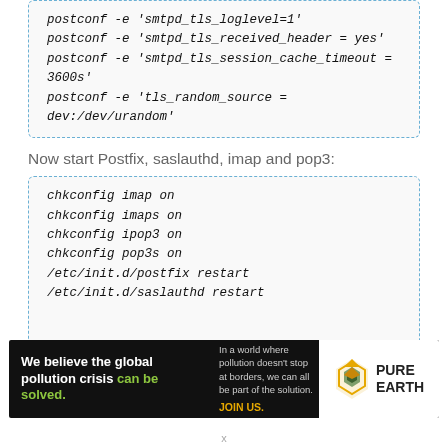[Figure (screenshot): Code block with dashed border showing postconf commands: postconf -e 'smtpd_tls_received_header = yes', postconf -e 'smtpd_tls_session_cache_timeout = 3600s', postconf -e 'tls_random_source = dev:/dev/urandom']
Now start Postfix, saslauthd, imap and pop3:
[Figure (screenshot): Code block with dashed border showing: chkconfig imap on, chkconfig imaps on, chkconfig ipop3 on, chkconfig pop3s on, /etc/init.d/postfix restart, /etc/init.d/saslauthd restart]
[Figure (illustration): Pure Earth advertisement banner: 'We believe the global pollution crisis can be solved.' with Pure Earth logo]
x